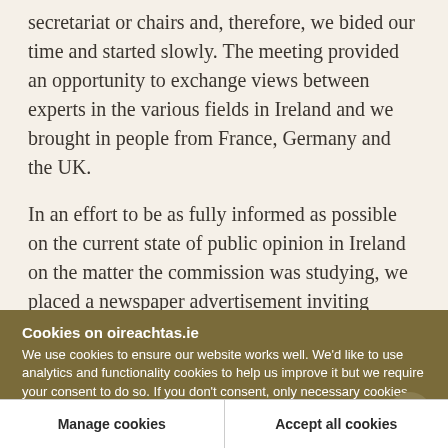secretariat or chairs and, therefore, we bided our time and started slowly. The meeting provided an opportunity to exchange views between experts in the various fields in Ireland and we brought in people from France, Germany and the UK.
In an effort to be as fully informed as possible on the current state of public opinion in Ireland on the matter the commission was studying, we placed a newspaper advertisement inviting interested members of the public, professional and voluntary
Cookies on oireachtas.ie
We use cookies to ensure our website works well. We'd like to use analytics and functionality cookies to help us improve it but we require your consent to do so. If you don't consent, only necessary cookies will be used. Read more about our cookies
Manage cookies
Accept all cookies